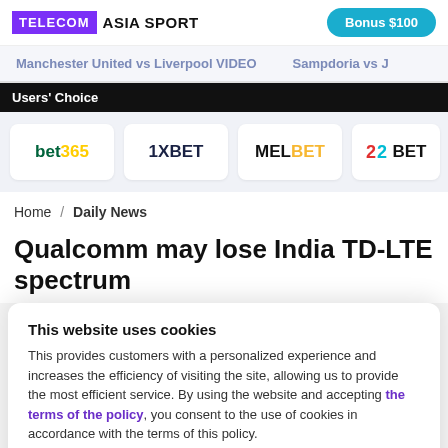TELECOM ASIA SPORT | Bonus $100
Manchester United vs Liverpool VIDEO | Sampdoria vs J
Users' Choice
[Figure (logo): Betting brand logos: bet365, 1XBET, MELBET, 22BET]
Home / Daily News
Qualcomm may lose India TD-LTE spectrum
This website uses cookies
This provides customers with a personalized experience and increases the efficiency of visiting the site, allowing us to provide the most efficient service. By using the website and accepting the terms of the policy, you consent to the use of cookies in accordance with the terms of this policy.
I agree